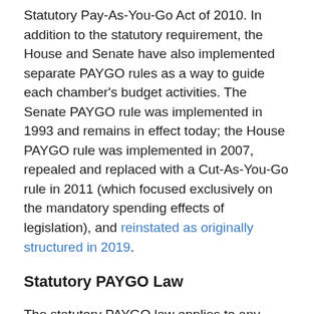Statutory Pay-As-You-Go Act of 2010. In addition to the statutory requirement, the House and Senate have also implemented separate PAYGO rules as a way to guide each chamber's budget activities. The Senate PAYGO rule was implemented in 1993 and remains in effect today; the House PAYGO rule was implemented in 2007, repealed and replaced with a Cut-As-You-Go rule in 2011 (which focused exclusively on the mandatory spending effects of legislation), and reinstated as originally structured in 2019.
Statutory PAYGO Law
The statutory PAYGO law applies to any newly enacted legislation that affects mandatory spending and/or revenues. The projected costs and savings of each enacted bill is tracked by the Office of Management and Budget (OMB) on what are known as PAYGO scorecards.